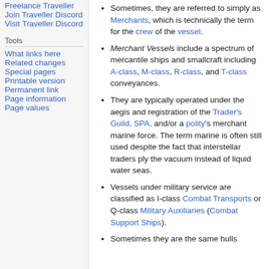Freelance Traveller
Join Traveller Discord
Visit Traveller Discord
Tools
What links here
Related changes
Special pages
Printable version
Permanent link
Page information
Page values
Sometimes, they are referred to simply as Merchants, which is technically the term for the crew of the vessel.
Merchant Vessels include a spectrum of mercantile ships and smallcraft including A-class, M-class, R-class, and T-class conveyances.
They are typically operated under the aegis and registration of the Trader's Guild, SPA, and/or a polity's merchant marine force. The term marine is often still used despite the fact that interstellar traders ply the vacuum instead of liquid water seas.
Vessels under military service are classified as I-class Combat Transports or Q-class Military Auxiliaries (Combat Support Ships).
Sometimes they are the same hulls...